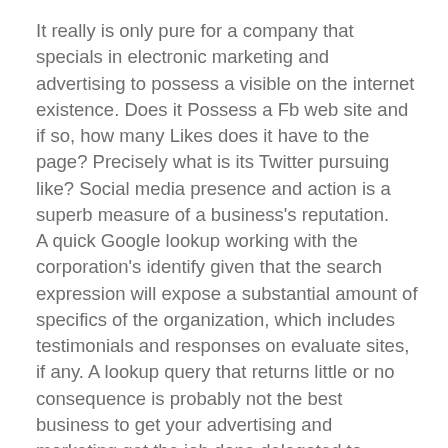It really is only pure for a company that specials in electronic marketing and advertising to possess a visible on the internet existence. Does it Possess a Fb web site and if so, how many Likes does it have to the page? Precisely what is its Twitter pursuing like? Social media presence and action is a superb measure of a business's reputation.
A quick Google lookup working with the corporation's identify given that the search expression will expose a substantial amount of specifics of the organization, which includes testimonials and responses on evaluate sites, if any. A lookup query that returns little or no consequence is probably not the best business to get your advertising and marketing get the job done delegated to.